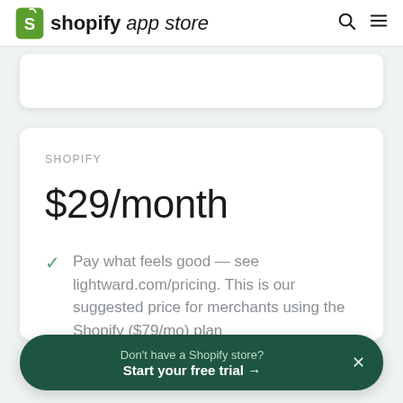shopify app store
SHOPIFY
$29/month
Pay what feels good — see lightward.com/pricing. This is our suggested price for merchants using the Shopify ($79/mo) plan
Don't have a Shopify store?
Start your free trial →